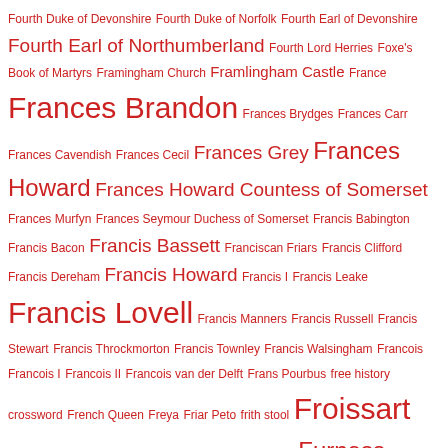Fourth Duke of Devonshire Fourth Duke of Norfolk Fourth Earl of Devonshire Fourth Earl of Northumberland Fourth Lord Herries Foxe's Book of Martyrs Framingham Church Framlingham Castle France Frances Brandon Frances Brydges Frances Carr Frances Cavendish Frances Cecil Frances Grey Frances Howard Frances Howard Countess of Somerset Frances Murfyn Frances Seymour Duchess of Somerset Francis Babington Francis Bacon Francis Bassett Franciscan Friars Francis Clifford Francis Dereham Francis Howard Francis I Francis Leake Francis Lovell Francis Manners Francis Russell Francis Stewart Francis Throckmorton Francis Townley Francis Walsingham Francois Francois I Francois II Francois van der Delft Frans Pourbus free history crossword French Queen Freya Friar Peto frith stool Froissart Froissart's Chronicles Frost Fair Fulk of Anjou furlong Furness Abbey further reading Fyfield Church fyrd Gainsborough Gainsborough Old Hall Galen galilee porch Galloway games at Christmas garden plants in history Garendon Abbey Garendon House gargoyle Gascony GCF Geillis Duncan Gelt Wood